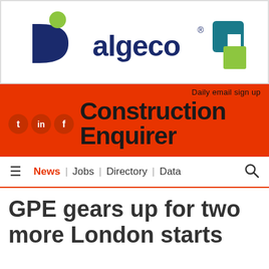[Figure (logo): Algeco company logo with D-shape icon on left, 'algeco' text in center, and two square shapes on right]
Daily email sign up
Construction Enquirer
News | Jobs | Directory | Data
GPE gears up for two more London starts